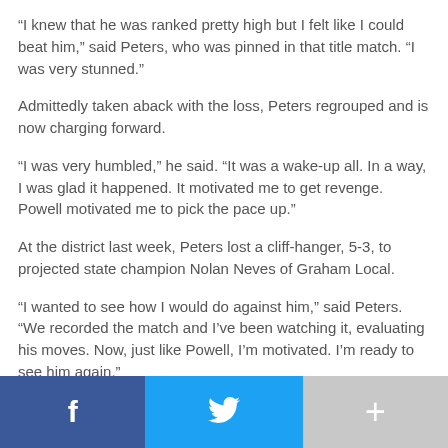“I knew that he was ranked pretty high but I felt like I could beat him,” said Peters, who was pinned in that title match. “I was very stunned.”
Admittedly taken aback with the loss, Peters regrouped and is now charging forward.
“I was very humbled,” he said. “It was a wake-up all. In a way, I was glad it happened. It motivated me to get revenge. Powell motivated me to pick the pace up.”
At the district last week, Peters lost a cliff-hanger, 5-3, to projected state champion Nolan Neves of Graham Local.
“I wanted to see how I would do against him,” said Peters. “We recorded the match and I’ve been watching it, evaluating his moves. Now, just like Powell, I’m motivated. I’m ready to see him again.”
[Figure (other): Social share bar with Facebook (blue), Twitter (cyan), and a plus/more button (gray)]